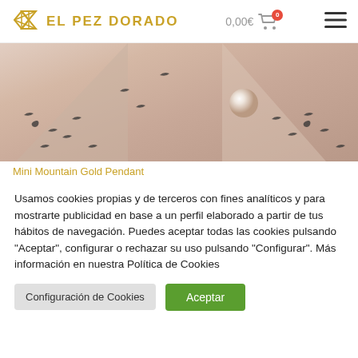EL PEZ DORADO — 0,00€ 0
[Figure (photo): Close-up photo of pink/beige fabric with small bird silhouettes and a pearl pendant]
Mini Mountain Gold Pendant
Usamos cookies propias y de terceros con fines analíticos y para mostrarte publicidad en base a un perfil elaborado a partir de tus hábitos de navegación. Puedes aceptar todas las cookies pulsando "Aceptar", configurar o rechazar su uso pulsando "Configurar". Más información en nuestra Política de Cookies
Configuración de Cookies
Aceptar